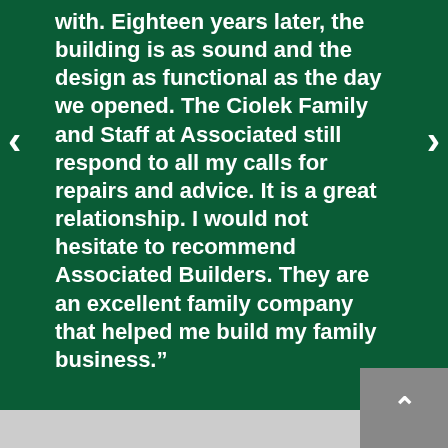with. Eighteen years later, the building is as sound and the design as functional as the day we opened. The Ciolek Family and Staff at Associated still respond to all my calls for repairs and advice. It is a great relationship. I would not hesitate to recommend Associated Builders. They are an excellent family company that helped me build my family business.”